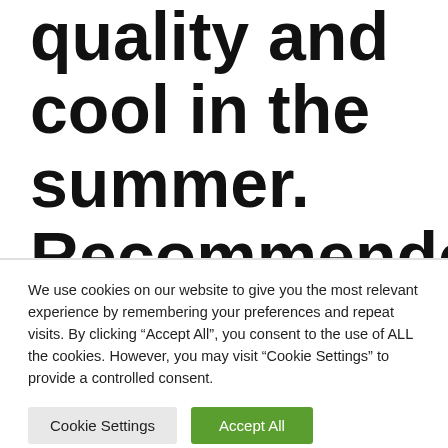quality and cool in the summer. Recommended humidifiers for the bedroom
We use cookies on our website to give you the most relevant experience by remembering your preferences and repeat visits. By clicking “Accept All”, you consent to the use of ALL the cookies. However, you may visit “Cookie Settings” to provide a controlled consent.